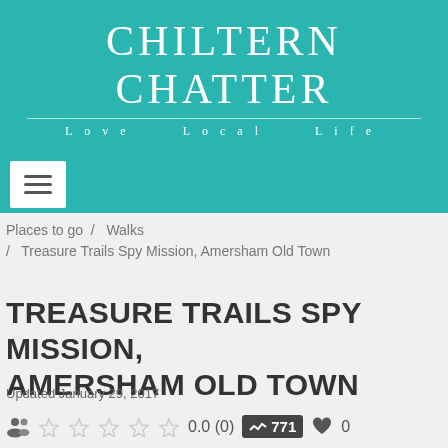CHILTERN CHATTER — Love Local Life
Places to go / Walks / Treasure Trails Spy Mission, Amersham Old Town
TREASURE TRAILS SPY MISSION, AMERSHAM OLD TOWN
Updated January 29, 2017
0.0 (0)  771  0